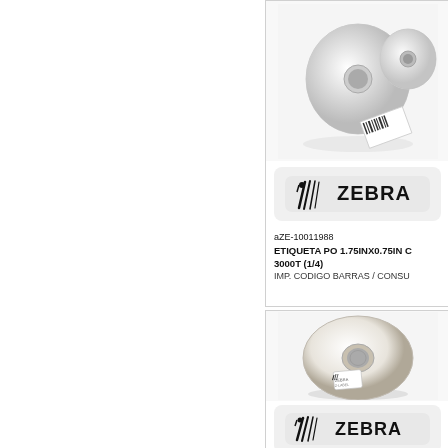[Figure (photo): Roll of Zebra label paper (small roll with labels visible), partially cut off at top]
[Figure (logo): Zebra Technologies logo badge with striped zebra head icon and ZEBRA text]
aZE-10011988
ETIQUETA PO 1.75INX0.75IN C 3000T (1/4)
IMP. CODIGO BARRAS / CONSU
[Figure (photo): Large roll of white Zebra label paper on a core, with small label on the side]
[Figure (logo): Zebra Technologies logo badge with striped zebra head icon and ZEBRA text (second product)]